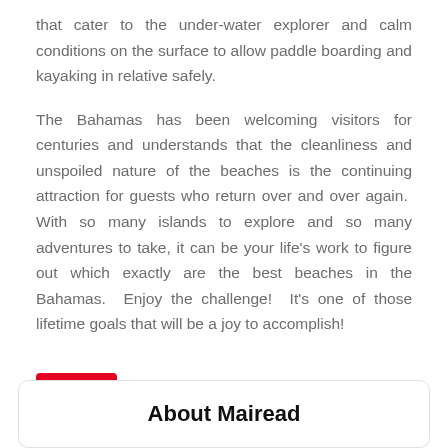that cater to the under-water explorer and calm conditions on the surface to allow paddle boarding and kayaking in relative safely.
The Bahamas has been welcoming visitors for centuries and understands that the cleanliness and unspoiled nature of the beaches is the continuing attraction for guests who return over and over again.  With so many islands to explore and so many adventures to take, it can be your life's work to figure out which exactly are the best beaches in the Bahamas.  Enjoy the challenge!  It's one of those lifetime goals that will be a joy to accomplish!
[Figure (other): Pinterest Save button with Pinterest logo icon]
About Mairead